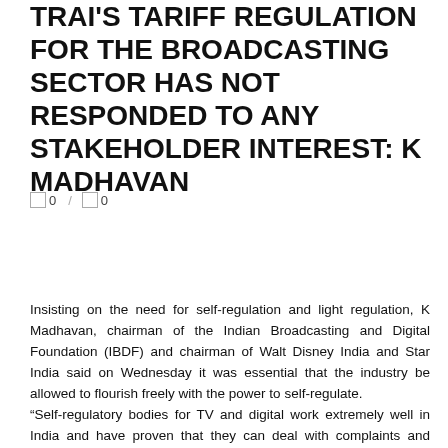TRAI'S TARIFF REGULATION FOR THE BROADCASTING SECTOR HAS NOT RESPONDED TO ANY STAKEHOLDER INTEREST: K MADHAVAN
0 / 0
Insisting on the need for self-regulation and light regulation, K Madhavan, chairman of the Indian Broadcasting and Digital Foundation (IBDF) and chairman of Walt Disney India and Star India said on Wednesday it was essential that the industry be allowed to flourish freely with the power to self-regulate.
“Self-regulatory bodies for TV and digital work extremely well in India and have proven that they can deal with complaints and concerns effectively, without any interference from policy makers and regulators,” Madhavan said in his speech. opening during the inaugural